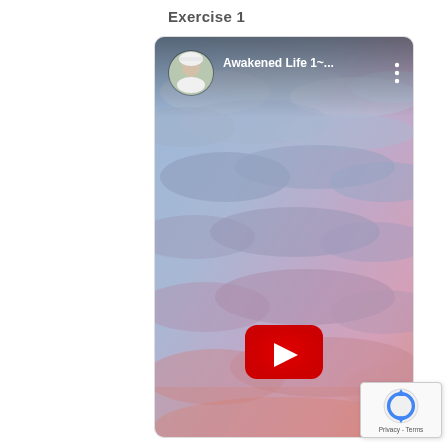Exercise 1
[Figure (screenshot): YouTube video thumbnail showing a sky with clouds in blue, purple, and pink hues. The video is titled 'Awakened Life 1~...' with a channel avatar (person in white) in the top left. A YouTube play button (red rounded rectangle with white triangle) is centered near the bottom of the thumbnail. A three-dot menu icon appears in the top right of the video player. A reCAPTCHA icon with 'Privacy - Terms' text is in the bottom right corner of the page.]